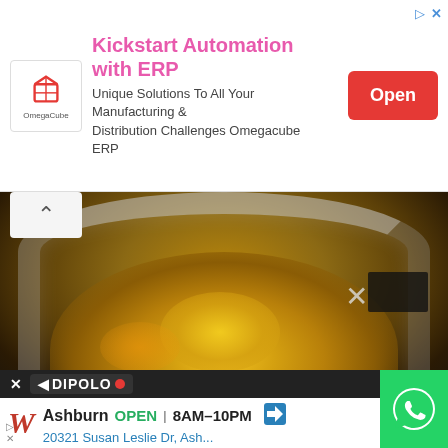[Figure (screenshot): Web page screenshot showing a banner advertisement for 'Kickstart Automation with ERP' by Omegacube, with a red Open button, overlaid on a photo of golden cereal flakes in a silver stainless steel pot/bowl. Below the photo is a Walgreens location ad showing 'Ashburn OPEN 8AM–10PM 20321 Susan Leslie Dr, Ash...' with a DIPOLO/AdPolo bar and a WhatsApp green button in the lower right.]